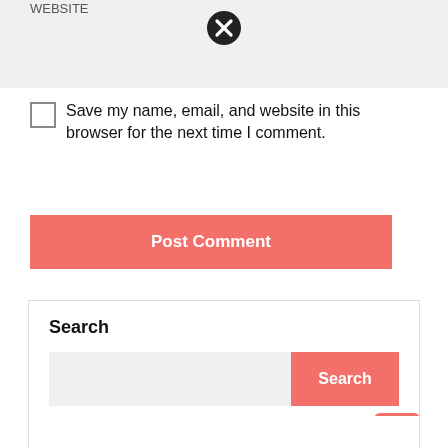[Figure (screenshot): Website URL input field with a close (X) button, light gray background input area]
Save my name, email, and website in this browser for the next time I comment.
[Figure (other): Post Comment button — salmon/coral colored rectangular button with white text]
Search
[Figure (other): Search widget with text input field and coral Search button]
[Figure (other): Scroll-to-top coral button with upward arrow icon]
ads
[Figure (other): Close (X) circle icon within ads section]